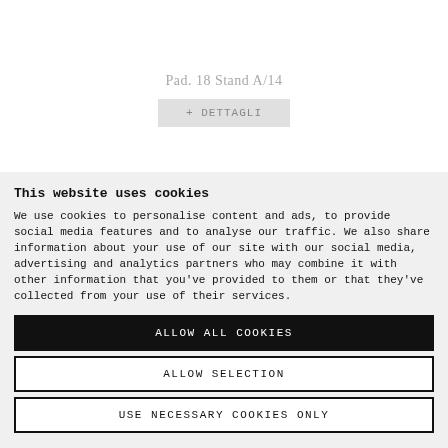Pad. 18 Stand A/14
+ DETTAGLI
DE' BONIS
This website uses cookies
We use cookies to personalise content and ads, to provide social media features and to analyse our traffic. We also share information about your use of our site with our social media, advertising and analytics partners who may combine it with other information that you've provided to them or that they've collected from your use of their services.
ALLOW ALL COOKIES
ALLOW SELECTION
USE NECESSARY COOKIES ONLY